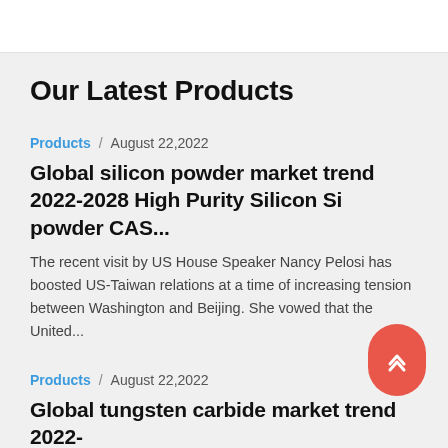Our Latest Products
Products / August 22,2022
Global silicon powder market trend 2022-2028 High Purity Silicon Si powder CAS...
The recent visit by US House Speaker Nancy Pelosi has boosted US-Taiwan relations at a time of increasing tension between Washington and Beijing. She vowed that the United...
Products / August 22,2022
Global tungsten carbide market trend 2022-